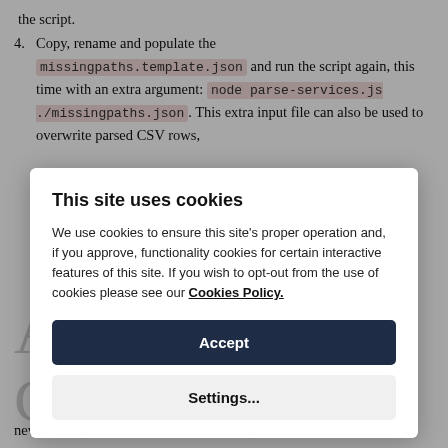4. Copy, rename and populate the missingpaths.template.json and run the script again, this time with an extra argument: node parse-services.js ./missingpaths.json . This extra input file can also be used to overwrite parsed CSV rows,
[Figure (screenshot): Cookie consent modal overlay with title 'This site uses cookies', body text about cookies policy, an Accept button (dark navy), and a Settings... button (light grey).]
new nodes (or new paths to existing ones). Here's an